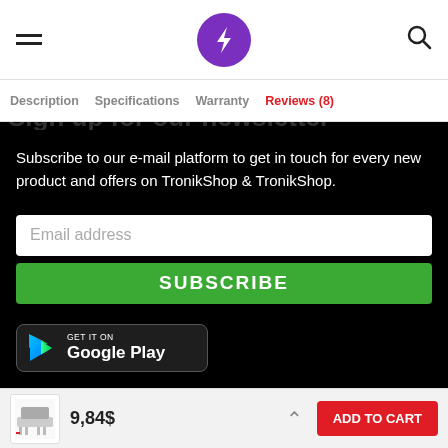TronikShop header with hamburger menu, logo, and search icon
Description  Specifications  Warranty  Reviews (8)
Subscribe to our e-mail platform to get in touch for every new product and offers on TronikShop & TronikShop.
Email address
SUBSCRIBE
[Figure (logo): GET IT ON Google Play badge]
9,84$  ADD TO CART